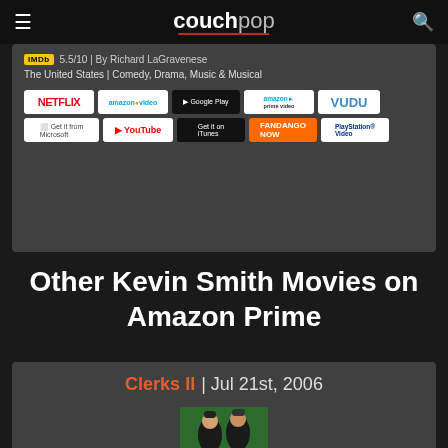couchpop
5.5/10 | By Richard LaGravenese
The United States | Comedy, Drama, Music & Musical
[Figure (logo): Streaming service logos: Netflix, Amazon Video, Google Play, Amazon Prime Video, VUDU, Microsoft, YouTube, iTunes, Fandango NOW, PlayStation Video]
Other Kevin Smith Movies on Amazon Prime
Clerks II | Jul 21st, 2006
[Figure (photo): Movie thumbnail image showing two characters with green background]